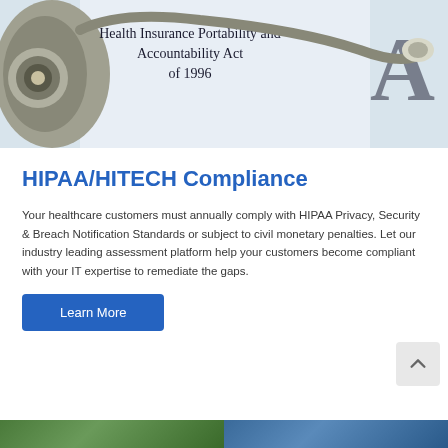[Figure (photo): Photo of a stethoscope resting on a document reading 'Health Insurance Portability and Accountability Act of 1996' with large 'A' letters visible]
HIPAA/HITECH Compliance
Your healthcare customers must annually comply with HIPAA Privacy, Security & Breach Notification Standards or subject to civil monetary penalties. Let our industry leading assessment platform help your customers become compliant with your IT expertise to remediate the gaps.
Learn More
[Figure (photo): Partial images visible at bottom of page - left side shows green vegetation/plant, right side shows blue tones]